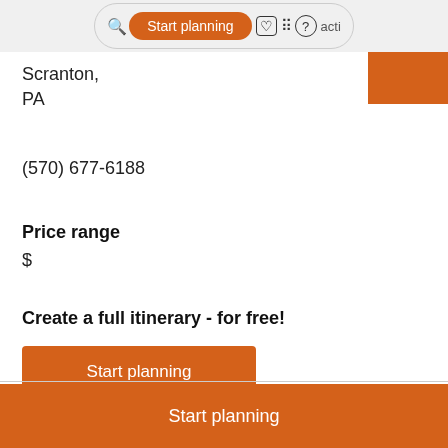[Figure (screenshot): Top navigation bar with orange 'Start planning' button, search icon, heart icon, grid icon, and help icon in a pill-shaped container]
Scranton,
PA
(570) 677-6188
Price range
$
Create a full itinerary - for free!
Start planning
Start planning